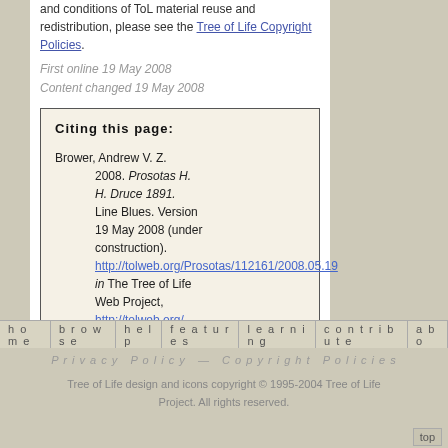and conditions of ToL material reuse and redistribution, please see the Tree of Life Copyright Policies.
First online 19 May 2008
Content changed 19 May 2008
Citing this page:

Brower, Andrew V. Z. 2008. Prosotas H. H. Druce 1891. Line Blues. Version 19 May 2008 (under construction). http://tolweb.org/Prosotas/112161/2008.05.19 in The Tree of Life Web Project, http://tolweb.org/
edit this page
home   browse   help   features   learning   contribute   abo...
Privacy Policy — Copyright Policies
Tree of Life design and icons copyright © 1995-2004 Tree of Life Project. All rights reserved.